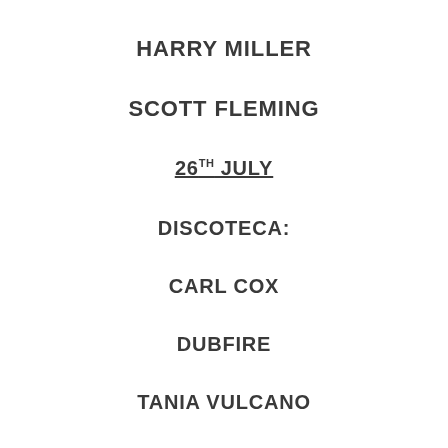HARRY MILLER
SCOTT FLEMING
26TH JULY
DISCOTECA:
CARL COX
DUBFIRE
TANIA VULCANO
COVERED TERRACE: